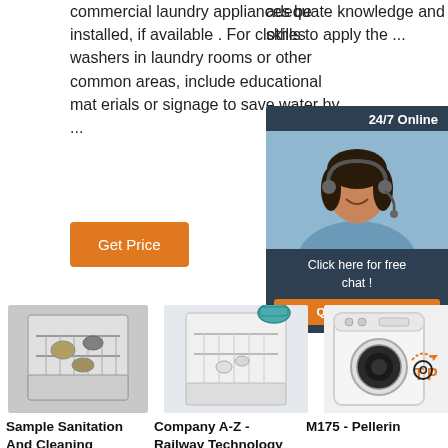commercial laundry appliances be installed, if available . For clothes washers in laundry rooms or other common areas, include educational mat erials or signage to save water by ...
[Figure (other): Orange 'Get Price' button]
adequate knowledge and skills to apply the ...
[Figure (other): Orange 'Get Price' button (right column, partially visible)]
[Figure (other): 24/7 Online chat widget with customer service representative photo and 'Click here for free chat! QUOTATION' button]
[Figure (photo): Open dishwasher with dishes inside]
Sample Sanitation And Cleaning
[Figure (photo): Open dishwasher on white background with teal pot on top]
Company A-Z - Railway Technology
[Figure (photo): White washing machine with 'TOP' arrow logo overlay]
M175 - Pellerin